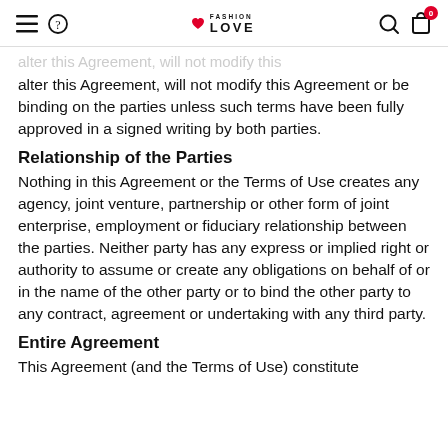Fashion Love navigation bar
alter this Agreement, will not modify this Agreement or be binding on the parties unless such terms have been fully approved in a signed writing by both parties.
Relationship of the Parties
Nothing in this Agreement or the Terms of Use creates any agency, joint venture, partnership or other form of joint enterprise, employment or fiduciary relationship between the parties. Neither party has any express or implied right or authority to assume or create any obligations on behalf of or in the name of the other party or to bind the other party to any contract, agreement or undertaking with any third party.
Entire Agreement
This Agreement (and the Terms of Use) constitute